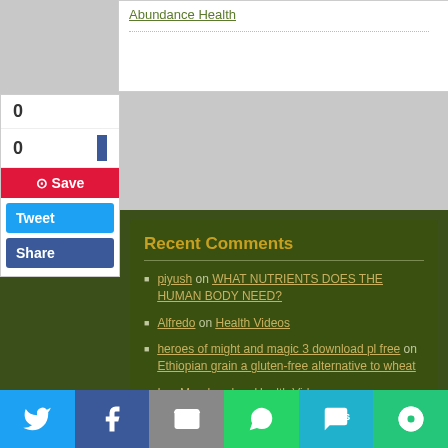Abundance Health
Recent Comments
piyush on WHAT NUTRIENTS DOES THE HUMAN BODY NEED?
Alfredo on Health Videos
heroes of might and magic 3 download pl free on Ethiopian grain a gluten-free alternative to wheat
Les Morehead on Health Videos
Dennise Roewe on Benefits of Yams
Categories